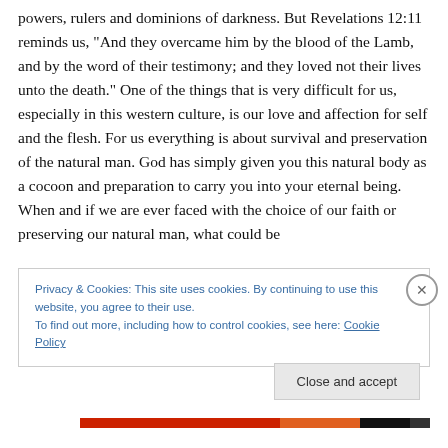powers, rulers and dominions of darkness. But Revelations 12:11 reminds us, “And they overcame him by the blood of the Lamb, and by the word of their testimony; and they loved not their lives unto the death.” One of the things that is very difficult for us, especially in this western culture, is our love and affection for self and the flesh. For us everything is about survival and preservation of the natural man. God has simply given you this natural body as a cocoon and preparation to carry you into your eternal being. When and if we are ever faced with the choice of our faith or preserving our natural man, what could be
Privacy & Cookies: This site uses cookies. By continuing to use this website, you agree to their use. To find out more, including how to control cookies, see here: Cookie Policy